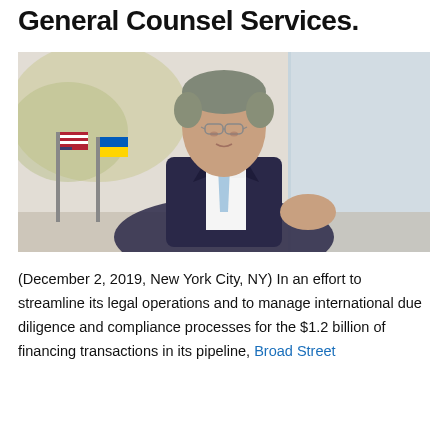General Counsel Services.
[Figure (photo): A man in a dark pinstripe suit with a light blue tie, wearing glasses, seated at a table with American and Ukrainian flags in the background, in a professional meeting setting.]
(December 2, 2019, New York City, NY) In an effort to streamline its legal operations and to manage international due diligence and compliance processes for the $1.2 billion of financing transactions in its pipeline, Broad Street